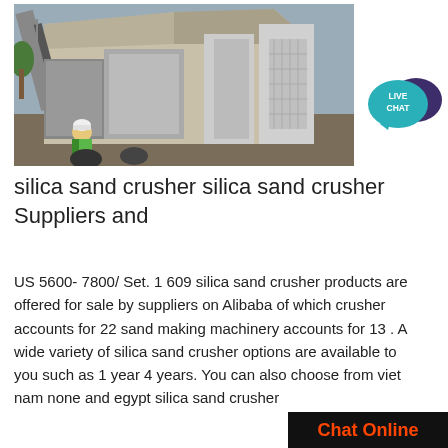[Figure (photo): Industrial silica sand crusher equipment at an outdoor site with conveyor belts, metal structures, and a worker in a green vest and hard hat in the foreground.]
[Figure (other): Live Chat button widget — teal speech bubble with 'LIVE CHAT' text and a dark purple speech bubble icon behind it.]
silica sand crusher silica sand crusher Suppliers and
US 5600- 7800/ Set. 1 609 silica sand crusher products are offered for sale by suppliers on Alibaba of which crusher accounts for 22 sand making machinery accounts for 13 . A wide variety of silica sand crusher options are available to you such as 1 year 4 years. You can also choose from viet nam none and egypt silica sand crusher
Chat Online